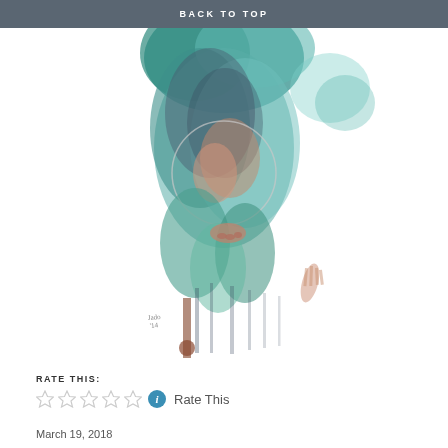BACK TO TOP
[Figure (illustration): Watercolor illustration of a figure appearing upside-down with teal, blue-gray, salmon/peach tones; abstract forest silhouette in background; circular shape around the figure's head; artist signature visible lower left]
RATE THIS:
Rate This
March 19, 2018